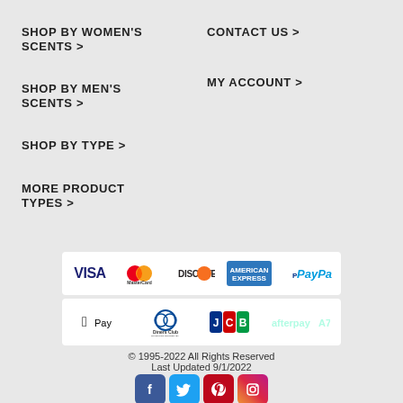SHOP BY WOMEN'S SCENTS >
CONTACT US >
SHOP BY MEN'S SCENTS >
MY ACCOUNT >
SHOP BY TYPE >
MORE PRODUCT TYPES >
[Figure (infographic): Payment method logos: Visa, MasterCard, Discover, American Express, PayPal, Apple Pay, Diners Club International, JCB, Afterpay]
© 1995-2022 All Rights Reserved
Last Updated 9/1/2022
[Figure (infographic): Social media icons: Facebook, Twitter, Pinterest, Instagram]